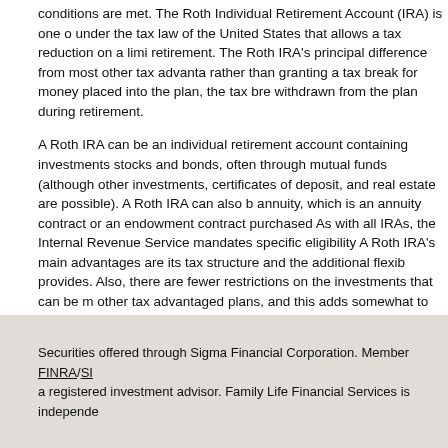conditions are met. The Roth Individual Retirement Account (IRA) is one of the types under the tax law of the United States that allows a tax reduction on a limited amount at retirement. The Roth IRA's principal difference from most other tax advantaged plans is rather than granting a tax break for money placed into the plan, the tax break is given on money withdrawn from the plan during retirement.
A Roth IRA can be an individual retirement account containing investments such as stocks and bonds, often through mutual funds (although other investments, including certificates of deposit, and real estate are possible). A Roth IRA can also be an individual retirement annuity, which is an annuity contract or an endowment contract purchased from a life insurance company. As with all IRAs, the Internal Revenue Service mandates specific eligibility and filing status requirements. A Roth IRA's main advantages are its tax structure and the additional flexibility that this structure provides. Also, there are fewer restrictions on the investments that can be made in the plan than many other tax advantaged plans, and this adds somewhat to the popularity, though the range of available depends on the trustee (or the place where the plan is established).
Securities offered through Sigma Financial Corporation. Member FINRA/SIPC. Family Life Financial Services is a registered investment advisor. Family Life Financial Services is independently owned and operated.